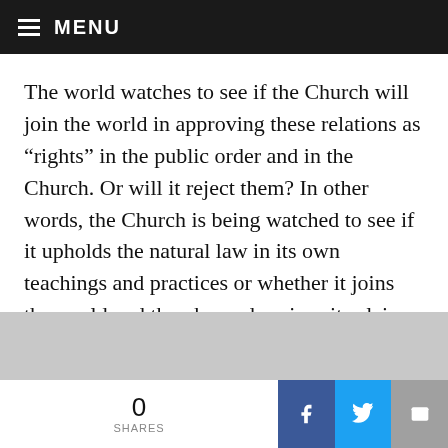MENU
The world watches to see if the Church will join the world in approving these relations as “rights” in the public order and in the Church. Or will it reject them? In other words, the Church is being watched to see if it upholds the natural law in its own teachings and practices or whether it joins the world and thereby undermines its claim to consistency and truth of doctrine since its beginning.
The “greatest crisis” of the Church, then, would not be the discovery that clerics are themselves sinners. Christ was
0 SHARES